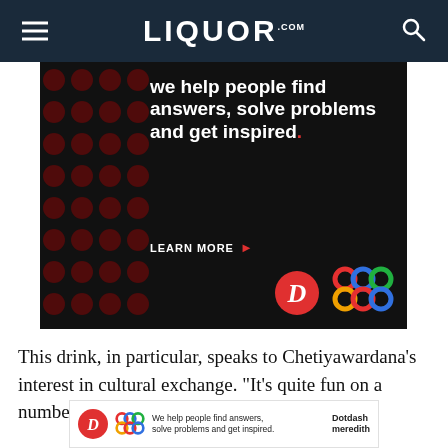LIQUOR.COM
[Figure (infographic): Advertisement: dark background with red dot pattern. Text reads 'we help people find answers, solve problems and get inspired.' with LEARN MORE button, Dotdash 'D' logo and colorful knot logo.]
This drink, in particular, speaks to Chetiyawardana’s interest in cultural exchange. “It’s quite fun on a number of levels,” he says. It’s a
[Figure (infographic): Small banner ad: We help people find answers, solve problems and get inspired. Dotdash meredith logo.]